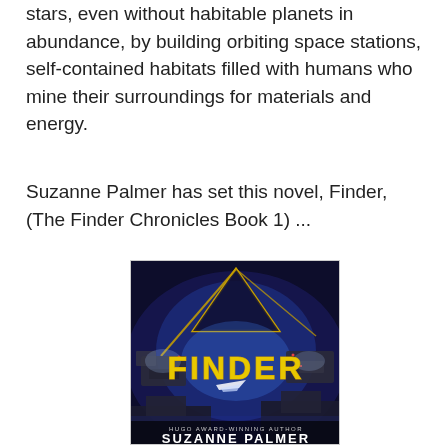stars, even without habitable planets in abundance, by building orbiting space stations, self-contained habitats filled with humans who mine their surroundings for materials and energy.
Suzanne Palmer has set this novel, Finder, (The Finder Chronicles Book 1) ...
[Figure (photo): Book cover of 'Finder' by Suzanne Palmer (Hugo Award-Winning Author). Dark science fiction cover featuring a large triangular shape/pyramid with glowing yellow/gold beams of light, space station structures, and dramatic blue/purple lighting. The title 'FINDER' appears in large yellow letters, with a spacecraft silhouette. Bottom text reads 'HUGO AWARD-WINNING AUTHOR SUZANNE PALMER'.]